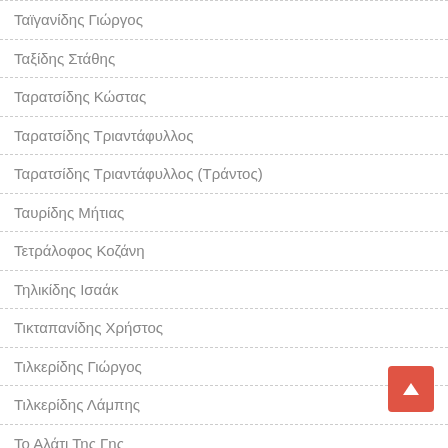Ταϊγανίδης Γιώργος
Ταξίδης Στάθης
Ταρατσίδης Κώστας
Ταρατσίδης Τριαντάφυλλος
Ταρατσίδης Τριαντάφυλλος (Τράντος)
Ταυρίδης Μήτιας
Τετράλοφος Κοζάνη
Τηλικίδης Ισαάκ
Τικταπανίδης Χρήστος
Τιλκερίδης Γιώργος
Τιλκερίδης Λάμπης
Το Αλάτι Της Γης